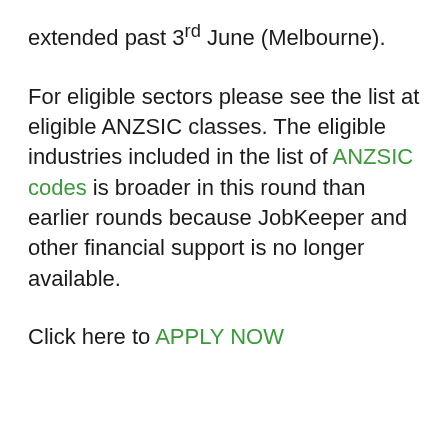extended past 3rd June (Melbourne).
For eligible sectors please see the list at eligible ANZSIC classes. The eligible industries included in the list of ANZSIC codes is broader in this round than earlier rounds because JobKeeper and other financial support is no longer available.
Click here to APPLY NOW